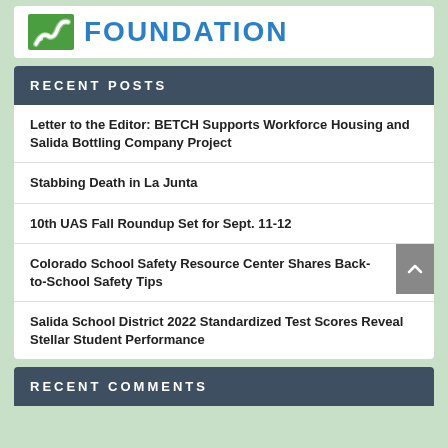[Figure (logo): Foundation logo with green road/path icon and blue FOUNDATION text]
RECENT POSTS
Letter to the Editor: BETCH Supports Workforce Housing and Salida Bottling Company Project
Stabbing Death in La Junta
10th UAS Fall Roundup Set for Sept. 11-12
Colorado School Safety Resource Center Shares Back-to-School Safety Tips
Salida School District 2022 Standardized Test Scores Reveal Stellar Student Performance
RECENT COMMENTS